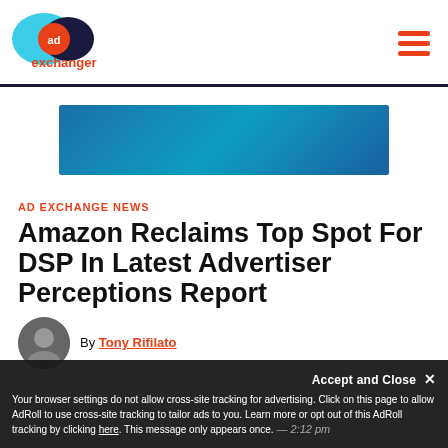AdExchanger logo and navigation
[Figure (other): AdRoll advertisement banner, blue gradient background]
AD EXCHANGE NEWS
Amazon Reclaims Top Spot For DSP In Latest Advertiser Perceptions Report
By Tony Rifilato
Your browser settings do not allow cross-site tracking for advertising. Click on this page to allow AdRoll to use cross-site tracking to tailor ads to you. Learn more or opt out of this AdRoll tracking by clicking here. This message only appears once.